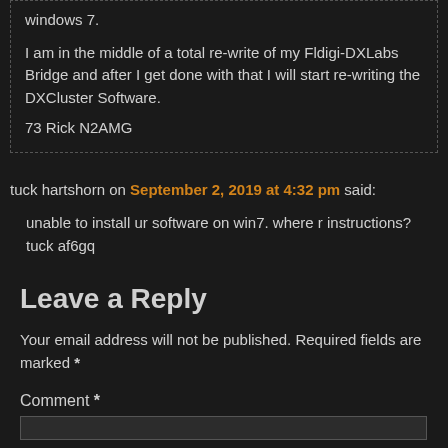windows 7.

I am in the middle of a total re-write of my Fldigi-DXLabs Bridge and after I get done with that I will start re-writing the DXCluster Software.

73 Rick N2AMG
tuck hartshorn on September 2, 2019 at 4:32 pm said:
unable to install ur software on win7. where r instructions? tuck af6gq
Leave a Reply
Your email address will not be published. Required fields are marked *
Comment *